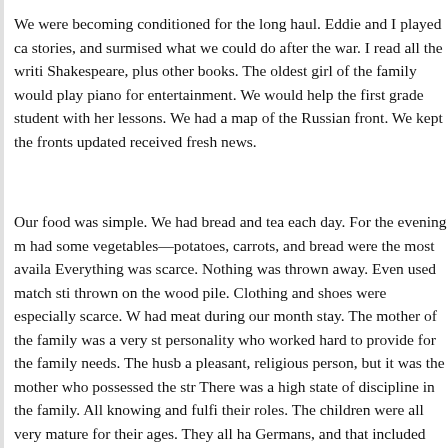We were becoming conditioned for the long haul. Eddie and I played ca stories, and surmised what we could do after the war. I read all the writi Shakespeare, plus other books. The oldest girl of the family would play piano for entertainment. We would help the first grade student with her lessons. We had a map of the Russian front. We kept the fronts updated received fresh news.
Our food was simple. We had bread and tea each day. For the evening m had some vegetables—potatoes, carrots, and bread were the most availa Everything was scarce. Nothing was thrown away. Even used match sti thrown on the wood pile. Clothing and shoes were especially scarce. W had meat during our month stay. The mother of the family was a very st personality who worked hard to provide for the family needs. The husb a pleasant, religious person, but it was the mother who possessed the str There was a high state of discipline in the family. All knowing and fulfi their roles. The children were all very mature for their ages. They all ha Germans, and that included the first-grade child. She would stand back window and stick her tongue out at the German officers across the stree